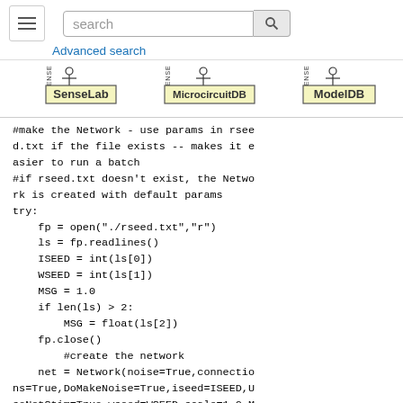search | Advanced search
[Figure (logo): SenseLab, MicrocircuitDB, and ModelDB logos]
#make the Network - use params in rseed.txt if the file exists -- makes it easier to run a batch
#if rseed.txt doesn't exist, the Network is created with default params
try:
    fp = open("./rseed.txt","r")
    ls = fp.readlines()
    ISEED = int(ls[0])
    WSEED = int(ls[1])
    MSG = 1.0
    if len(ls) > 2:
        MSG = float(ls[2])
    fp.close()
        #create the network
    net = Network(noise=True,connections=True,DoMakeNoise=True,iseed=ISEED,UseNetStim=True,wseed=WSEED,scale=1.0,MSGain=MSG)